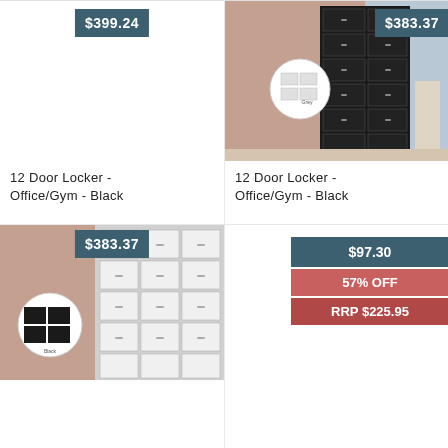[Figure (photo): Product listing cell top-left: blank image area with price badge $399.24]
12 Door Locker - Office/Gym - Black
[Figure (photo): 12 Door Locker Office/Gym Black - black locker unit in gym setting with circular zoom inset, price badge $383.37]
12 Door Locker - Office/Gym - Black
[Figure (photo): 12 Door Locker Office/Gym - white/grey locker unit with circular zoom inset showing black color option, price badge $383.37]
[Figure (photo): Product listing cell bottom-right: price badge $97.30, discount badge 57% OFF, RRP $225.95]